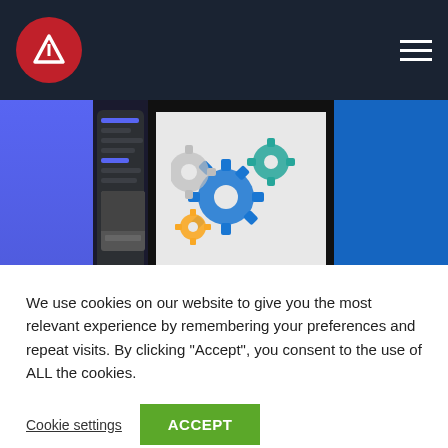Navigation bar with logo and hamburger menu
[Figure (screenshot): Discord App Review card thumbnail showing blue/purple gradient with text 'lish and red Messaging' and dark phone screen]
Discord App Revie...
[Figure (screenshot): Engineering Produ... card with dark background showing gear/cogs illustration and author names Colin Fay, Sébastien Rochette, Vincent Guyader]
Engineering Produ...
[Figure (screenshot): Eyetem App Review card with blue background showing 'ld Safer mmunities gether!' text]
Eyetem App Revie...
We use cookies on our website to give you the most relevant experience by remembering your preferences and repeat visits. By clicking "Accept", you consent to the use of ALL the cookies.
Cookie settings   ACCEPT